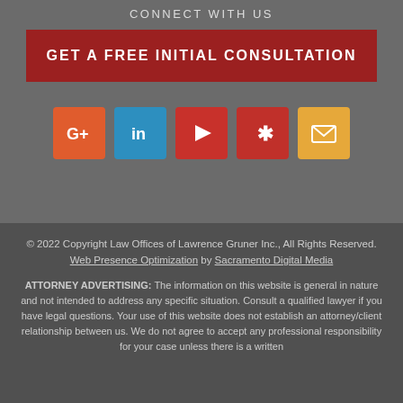CONNECT WITH US
GET A FREE INITIAL CONSULTATION
[Figure (infographic): Row of five social media icon buttons: Google+ (orange-red), LinkedIn (blue), YouTube (red), Yelp (red), Email/envelope (yellow-gold)]
© 2022 Copyright Law Offices of Lawrence Gruner Inc., All Rights Reserved. Web Presence Optimization by Sacramento Digital Media
ATTORNEY ADVERTISING: The information on this website is general in nature and not intended to address any specific situation. Consult a qualified lawyer if you have legal questions. Your use of this website does not establish an attorney/client relationship between us. We do not agree to accept any professional responsibility for your case unless there is a written